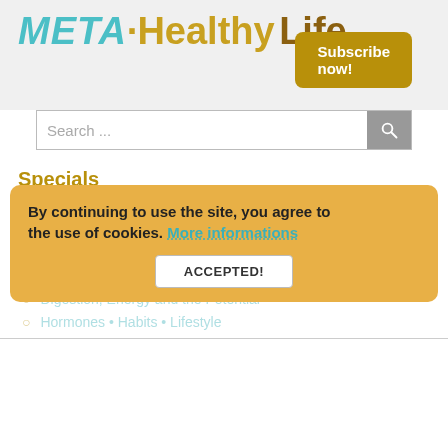META·Healthy Life
Subscribe now!
Search ...
Specials
Breath – the Source of Life
Mental Issues and the Power to Create
By continuing to use the site, you agree to the use of cookies.
Mental Issues and the Power to Create
Digestion, Energy and the Potential
Hormones • Habits • Lifestyle
By continuing to use the site, you agree to the use of cookies. More informations
ACCEPTED!